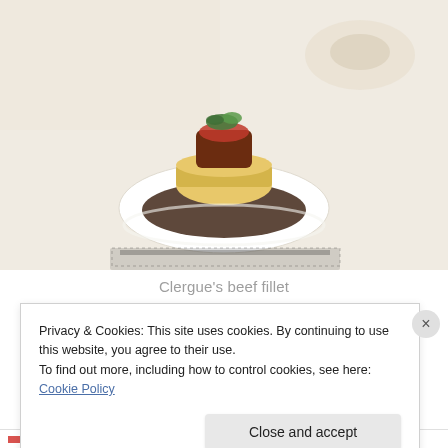[Figure (photo): A gourmet beef fillet dish presented in a white bowl with dark sauce and garnished with fresh herbs, with another similar dish blurred in the background. The dish is placed on a decorative black and white patterned surface.]
Clergue's beef fillet
Privacy & Cookies: This site uses cookies. By continuing to use this website, you agree to their use.
To find out more, including how to control cookies, see here: Cookie Policy